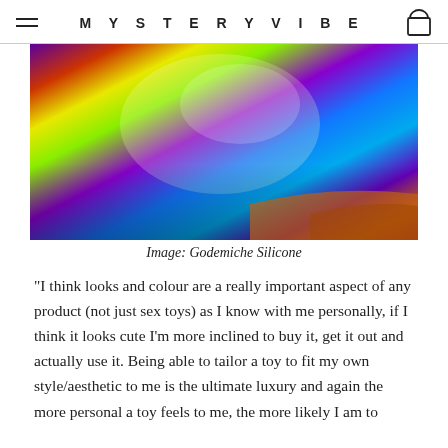MYSTERYVIBE
[Figure (photo): Colorful silicone products arranged in a row, displaying vibrant rainbow colors including purple, orange, yellow, green, blue, and red tones.]
Image: Godemiche Silicone
"I think looks and colour are a really important aspect of any product (not just sex toys) as I know with me personally, if I think it looks cute I'm more inclined to buy it, get it out and actually use it. Being able to tailor a toy to fit my own style/aesthetic to me is the ultimate luxury and again the more personal a toy feels to me, the more likely I am to